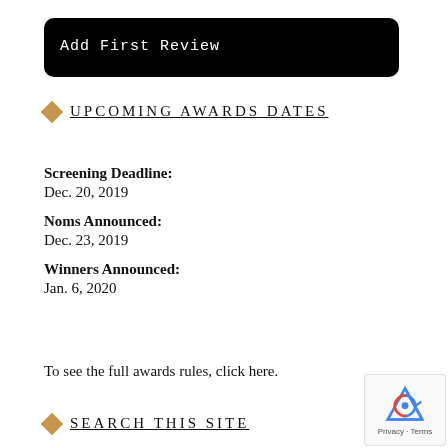[Figure (screenshot): Black rounded rectangle button with text 'Add First Review' in white monospace font]
UPCOMING AWARDS DATES
Screening Deadline:
Dec. 20, 2019
Noms Announced:
Dec. 23, 2019
Winners Announced:
Jan. 6, 2020
To see the full awards rules, click here.
SEARCH THIS SITE